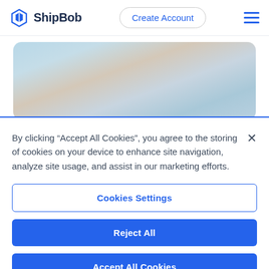[Figure (logo): ShipBob logo with diamond/box icon in blue and bold ShipBob text]
Create Account
[Figure (illustration): Partially visible sky image with clouds in blue and peach tones, rounded corners]
By clicking “Accept All Cookies”, you agree to the storing of cookies on your device to enhance site navigation, analyze site usage, and assist in our marketing efforts.
Cookies Settings
Reject All
Accept All Cookies